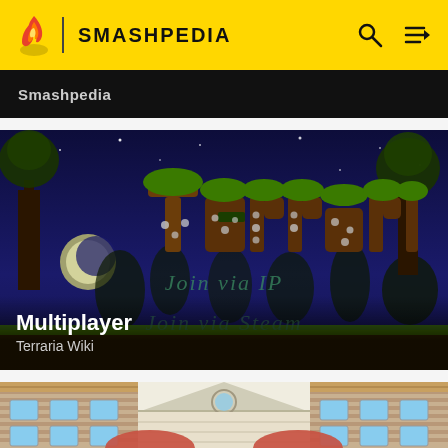SMASHPEDIA
[Figure (screenshot): Partially visible dark card with 'Smashpedia' text label at top]
[Figure (screenshot): Terraria game screenshot showing the Terraria logo with green grass text over a dark blue night sky background with trees. Shows 'Join via IP' and 'Join via Steam' multiplayer menu options. Card overlay reads 'Multiplayer' and 'Terraria Wiki'.]
[Figure (screenshot): Partially visible screenshot showing a building exterior resembling Animal Crossing architecture with brick walls and tiled roof, with red fingers at the bottom of the frame.]